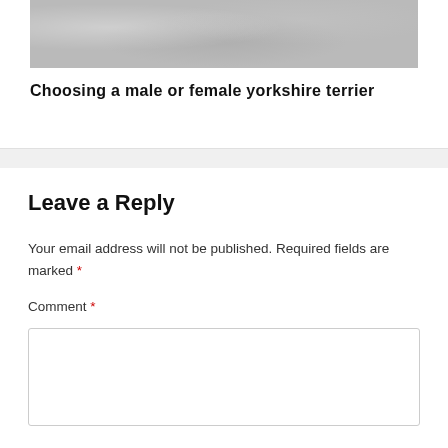[Figure (photo): Partial photo of a yorkshire terrier or snowy outdoor scene, cropped at top]
Choosing a male or female yorkshire terrier
Leave a Reply
Your email address will not be published. Required fields are marked *
Comment *